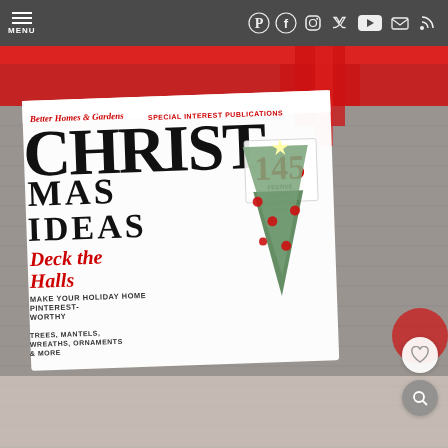MENU | Pinterest Facebook Instagram Twitter YouTube Email RSS
[Figure (photo): Screenshot of a website showing a Better Homes & Gardens Christmas Ideas magazine cover placed on a knitted grey background with red ribbons. The magazine cover features a decorated Christmas tree with red and white ornaments and the text: CHRISTMAS IDEAS, Deck the Halls, Make Your Holiday Home Pinterest-Worthy, Trees, Mantels, Wreaths, Ornaments & More, 145 Festive & Easy Decorating Tips. A heart/favorite button and a search button are visible overlaid on the photo.]